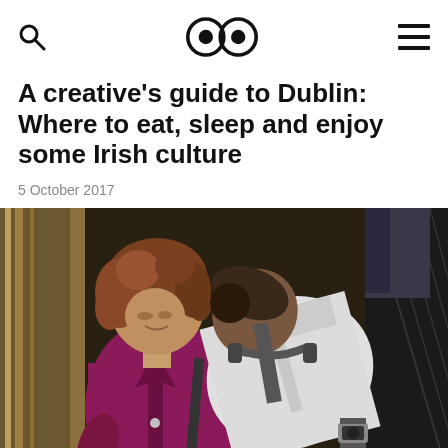A creative's guide to Dublin: Where to eat, sleep and enjoy some Irish culture
5 October 2017
[Figure (photo): Two people on an escalator. A woman in a magenta/purple jacket with curly auburn hair looks downward, while a man in a white jacket with headphones around his neck leans forward behind her. Another person in dark jeans is visible in the upper right background.]